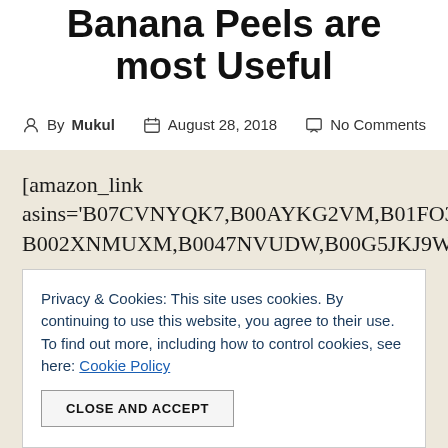Banana Peels are most Useful
By Mukul   August 28, 2018   No Comments
[amazon_link asins='B07CVNYQK7,B00AYKG2VM,B01FO3X9PA,B002XNMUXM,B0047NVUDW,B00G5JKJ9W,B07CS
Privacy & Cookies: This site uses cookies. By continuing to use this website, you agree to their use. To find out more, including how to control cookies, see here: Cookie Policy
CLOSE AND ACCEPT
benefits. It will give you amazing results.